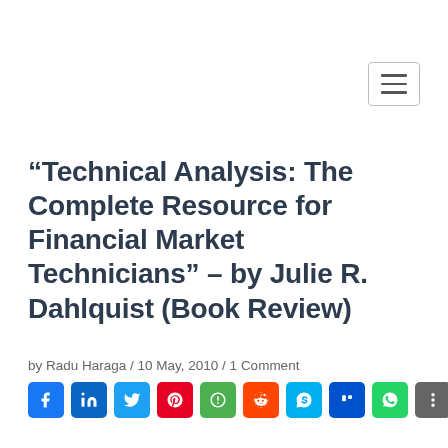“Technical Analysis: The Complete Resource for Financial Market Technicians” – by Julie R. Dahlquist (Book Review)
by Radu Haraga / 10 May, 2010 / 1 Comment